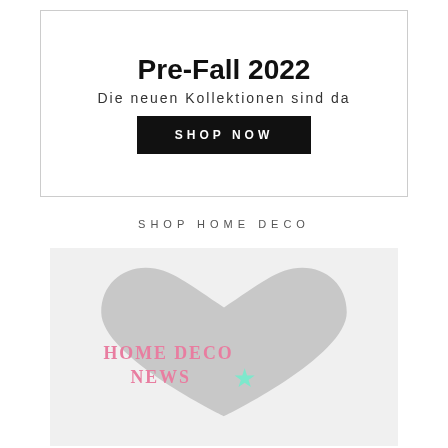Pre-Fall 2022
Die neuen Kollektionen sind da
SHOP NOW
SHOP HOME DECO
[Figure (illustration): Light gray square background with a large gray heart shape in the center. Inside the heart, pink serif text reads 'HOME DECO NEWS' with a mint/teal star icon to the right of NEWS.]